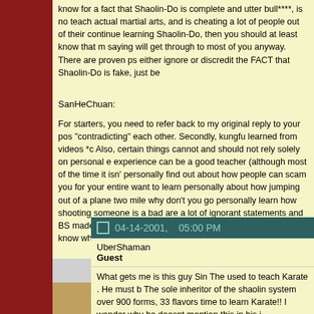know for a fact that Shaolin-Do is complete and utter bull****, is not teach actual martial arts, and is cheating a lot of people out of their continue learning Shaolin-Do, then you should at least know that m saying will get through to most of you anyway. There are proven ps either ignore or discredit the FACT that Shaolin-Do is fake, just be
SanHeChuan:
For starters, you need to refer back to my original reply to your pos "contradicting" each other. Secondly, kungfu learned from videos *c Also, certain things cannot and should not rely solely on personal e experience can be a good teacher (although most of the time it isn' personally find out about how people can scam you for your entire want to learn personally about how jumping out of a plane two mile why don't you go personally learn how shooting someone is a bad are a lot of ignorant statements and BS made on the internet; that there are those of us who do know what we are talking about.
04-14-2001,   05:00 PM
UberShaman
Guest
What gets me is this guy Sin The used to teach Karate . He must b The sole inheritor of the shaolin system over 900 forms, 33 flavors time to learn Karate!! I wonder why he doesnt mention this in his i